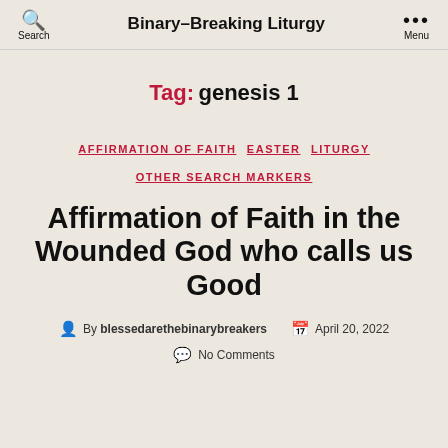Binary-Breaking Liturgy
Tag: genesis 1
AFFIRMATION OF FAITH  EASTER  LITURGY  OTHER SEARCH MARKERS
Affirmation of Faith in the Wounded God who calls us Good
By blessedarethebinarybreakers  April 20, 2022  No Comments